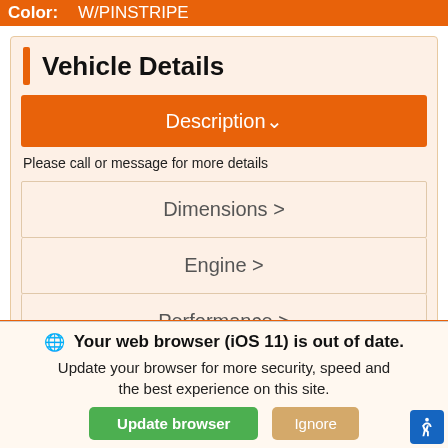Color: W/PINSTRIPE
Vehicle Details
Description∨
Please call or message for more details
Dimensions >
Engine >
Performance >
We use cookies to optimize our website and our service.
Cookie Policy   Privacy Statement
Your web browser (iOS 11) is out of date. Update your browser for more security, speed and the best experience on this site.
Update browser   Ignore